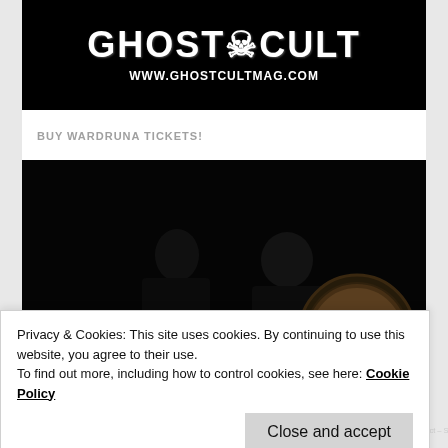[Figure (logo): Ghost Cult Magazine logo on black background with text WWW.GHOSTCULTMAG.COM]
BUY WARDRUNA TICKETS!
[Figure (photo): Two musicians in dark clothing against black background, one holding drumsticks, one holding a large frame drum]
Privacy & Cookies: This site uses cookies. By continuing to use this website, you agree to their use.
To find out more, including how to control cookies, see here: Cookie Policy
Close and accept
[Figure (other): Tour dates bar at bottom showing dates in Oct for various cities including Durham NC, Washington DC, Salem OR]